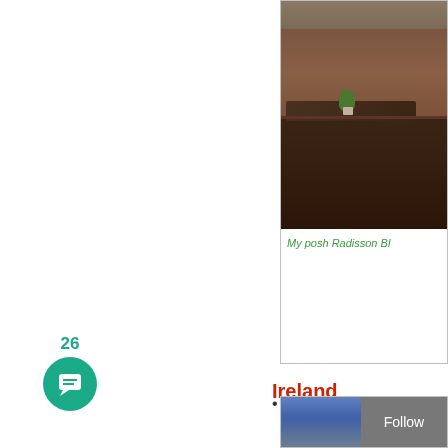[Figure (photo): Interior photo of a hotel lounge with leather sofas, a coffee table, and a plant — Radisson Blu Saga Hotel room]
My posh Radisson Bl…
Radisson Blu Saga Hotel … unchanged
This Radisson Blu might not be in… city center didn't bother me too m… 1919, and while the 1919 is certai… more (the new price is 75,000 poi… course, Saga upgraded me, a low… might still color my judgement 🙂
Ireland
[Figure (photo): Bottom strip showing a blue-sky photo and a Follow button]